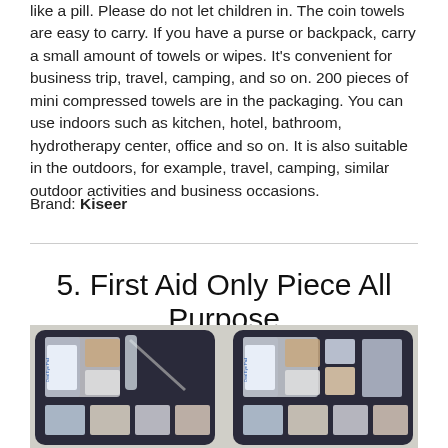like a pill. Please do not let children in. The coin towels are easy to carry. If you have a purse or backpack, carry a small amount of towels or wipes. It's convenient for business trip, travel, camping, and so on. 200 pieces of mini compressed towels are in the packaging. You can use indoors such as kitchen, hotel, bathroom, hydrotherapy center, office and so on. It is also suitable in the outdoors, for example, travel, camping, similar outdoor activities and business occasions.
Brand: Kiseer
5. First Aid Only Piece All Purpose
[Figure (photo): Open first aid kit showing various medical supplies including bandages, gauze pads, eye pads, and other first aid items arranged in a black zippered case.]